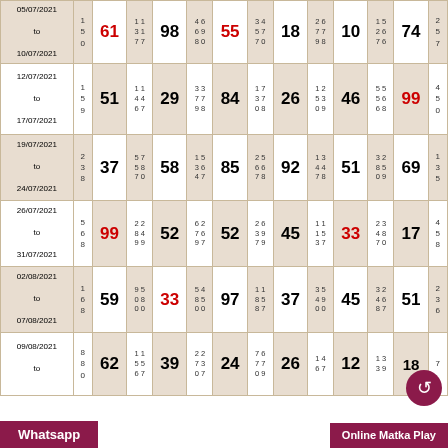| Date | S1 | Num1 | P1 | Num2 | P2 | Num3 | P3 | Num4 | P4 | Num5 | P5 | Num6 | S2 |
| --- | --- | --- | --- | --- | --- | --- | --- | --- | --- | --- | --- | --- | --- |
| 05/07/2021 to 10/07/2021 | 1 5 0 | 61 | 1 1 / 3 1 / 7 7 | 98 | 4 6 / 6 9 / 8 0 | 55 | 3 4 / 5 7 / 7 0 | 18 | 2 6 / 7 7 / 9 8 | 10 | 1 5 / 2 6 / 7 6 | 74 | 2 5 7 |
| 12/07/2021 to 17/07/2021 | 1 5 9 | 51 | 1 1 / 4 4 / 6 7 | 29 | 3 3 / 7 7 / 9 8 | 84 | 1 7 / 3 7 / 0 8 | 26 | 1 2 / 5 3 / 0 9 | 46 | 5 5 / 5 6 / 6 8 | 99 | 4 5 0 |
| 19/07/2021 to 24/07/2021 | 2 3 8 | 37 | 5 7 / 5 8 / 7 0 | 58 | 1 5 / 3 6 / 4 7 | 85 | 2 5 / 6 6 / 7 8 | 92 | 1 3 / 4 4 / 7 8 | 51 | 3 2 / 8 5 / 0 9 | 69 | 1 3 5 |
| 26/07/2021 to 31/07/2021 | 5 6 8 | 99 | 2 2 / 8 4 / 9 9 | 52 | 6 2 / 7 6 / 9 7 | 52 | 2 6 / 3 9 / 7 9 | 45 | 1 1 / 1 5 / 3 7 | 33 | 2 3 / 4 8 / 7 0 | 17 | 4 5 8 |
| 02/08/2021 to 07/08/2021 | 1 6 8 | 59 | 9 5 / 0 8 / 0 0 | 33 | 5 4 / 8 5 / 0 0 | 97 | 1 1 / 8 5 / 8 7 | 37 | 3 5 / 4 9 / 0 0 | 45 | 3 2 / 4 6 / 8 7 | 51 | 2 3 6 |
| 09/08/2021 to ... | 8 8 0 | 62 | 1 1 / 5 5 / 6 7 | 39 | 2 2 / 7 3 / 0 7 | 24 | 7 6 / 7 7 / 0 9 | 26 | 1 4 / 6 7 | 12 | 1 3 / 3 9 | 18 | 7 |